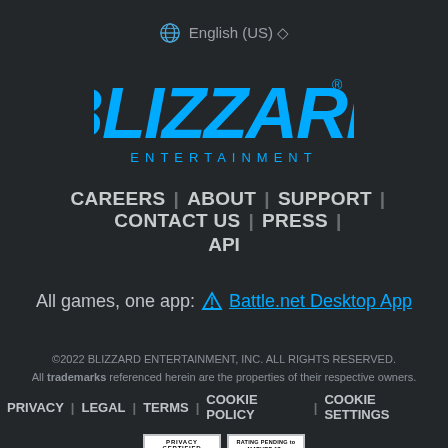🌐 English (US) ⇅
[Figure (logo): Blizzard Entertainment logo in blue text on dark background]
CAREERS | ABOUT | SUPPORT | CONTACT US | PRESS | API
All games, one app: ⊕ Battle.net Desktop App
©2022 BLIZZARD ENTERTAINMENT, INC. ALL RIGHTS RESERVED.
All trademarks referenced herein are the properties of their respective owners.
PRIVACY | LEGAL | TERMS | COOKIE POLICY | COOKIE SETTINGS
[Figure (other): Privacy Certified badge and ESRB Rating Pending to Mature 17+ RP-M badge]